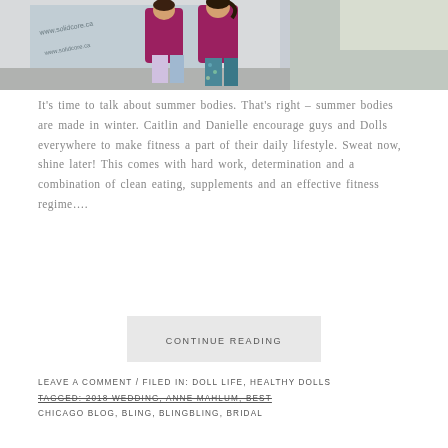[Figure (photo): Two women in magenta/pink workout jackets and floral leggings walking outside in front of a building with 'www.solidcore.ca' visible on the window.]
It's time to talk about summer bodies. That's right – summer bodies are made in winter. Caitlin and Danielle encourage guys and Dolls everywhere to make fitness a part of their daily lifestyle. Sweat now, shine later! This comes with hard work, determination and a combination of clean eating, supplements and an effective fitness regime….
CONTINUE READING
LEAVE A COMMENT / FILED IN: DOLL LIFE, HEALTHY DOLLS
TAGGED: 2018 WEDDING, ANNE MAHLUM, BEST CHICAGO BLOG, BLING, BLINGBLING, BRIDAL